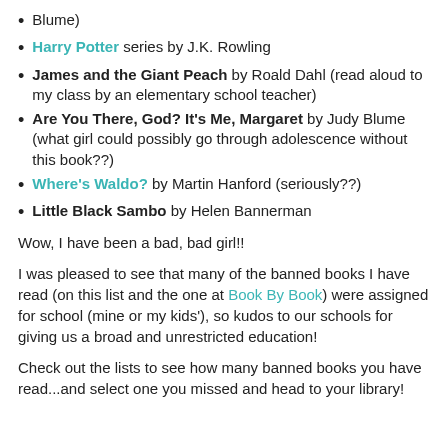Blume)
Harry Potter series by J.K. Rowling
James and the Giant Peach by Roald Dahl (read aloud to my class by an elementary school teacher)
Are You There, God? It's Me, Margaret by Judy Blume (what girl could possibly go through adolescence without this book??)
Where's Waldo? by Martin Hanford (seriously??)
Little Black Sambo by Helen Bannerman
Wow, I have been a bad, bad girl!!
I was pleased to see that many of the banned books I have read (on this list and the one at Book By Book) were assigned for school (mine or my kids'), so kudos to our schools for giving us a broad and unrestricted education!
Check out the lists to see how many banned books you have read...and select one you missed and head to your library!